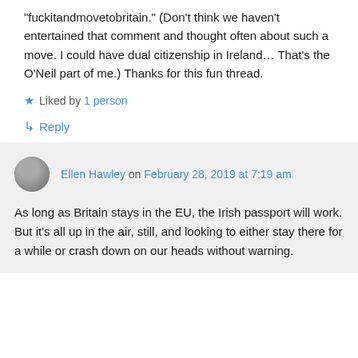“fuckitandmovetobritain.” (Don’t think we haven’t entertained that comment and thought often about such a move. I could have dual citizenship in Ireland… That’s the O’Neil part of me.) Thanks for this fun thread.
Liked by 1 person
Reply
Ellen Hawley on February 28, 2019 at 7:19 am
As long as Britain stays in the EU, the Irish passport will work. But it’s all up in the air, still, and looking to either stay there for a while or crash down on our heads without warning.